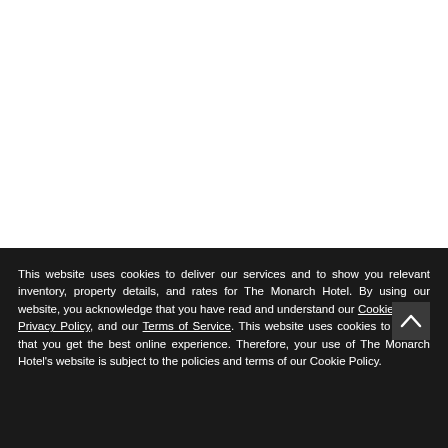This website uses cookies to deliver our services and to show you relevant inventory, property details, and rates for The Monarch Hotel. By using our website, you acknowledge that you have read and understand our Cookie Policy, Privacy Policy, and our Terms of Service. This website uses cookies to ensure that you get the best online experience. Therefore, your use of The Monarch Hotel's website is subject to the policies and terms of our Cookie Policy.